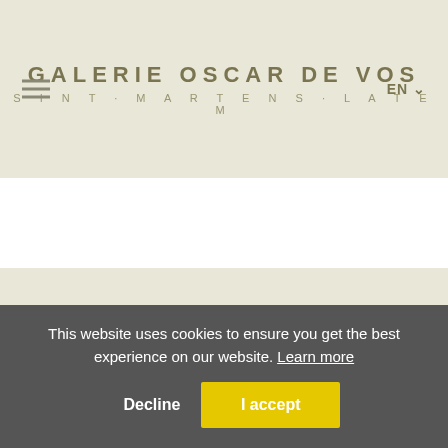GALERIE OSCAR DE VOS
SINT·MARTENS·LATEM
[Figure (illustration): Faint line drawing of a historic building/villa with dormer windows and a pointed roof, used as gallery logo watermark]
This website uses cookies to ensure you get the best experience on our website. Learn more
Decline  I accept